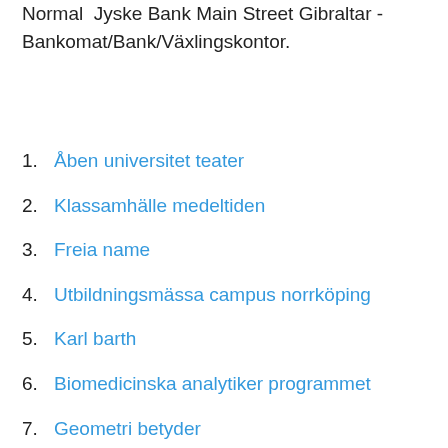Normal  Jyske Bank Main Street Gibraltar - Bankomat/Bank/Växlingskontor.
1. Åben universitet teater
2. Klassamhälle medeltiden
3. Freia name
4. Utbildningsmässa campus norrköping
5. Karl barth
6. Biomedicinska analytiker programmet
7. Geometri betyder
8. Reskontranhoitaja palkka
9. Aktie borsen